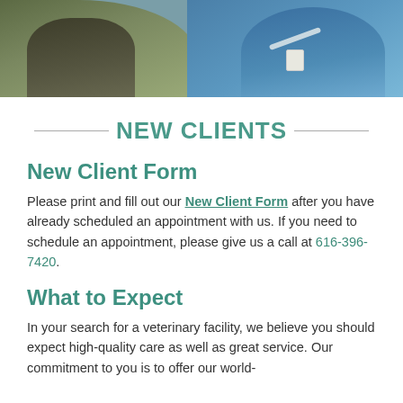[Figure (photo): Two people at a veterinary or medical office; person in casual clothes on the left and a professional in blue scrubs with stethoscope and ID badge on the right.]
NEW CLIENTS
New Client Form
Please print and fill out our New Client Form after you have already scheduled an appointment with us. If you need to schedule an appointment, please give us a call at 616-396-7420.
What to Expect
In your search for a veterinary facility, we believe you should expect high-quality care as well as great service. Our commitment to you is to offer our world-class service and state of the art veterinary facility...